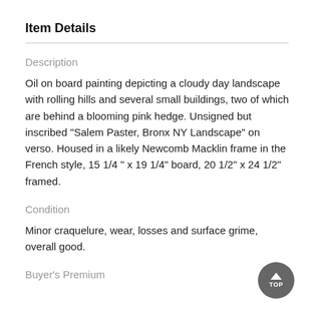Item Details
Description
Oil on board painting depicting a cloudy day landscape with rolling hills and several small buildings, two of which are behind a blooming pink hedge. Unsigned but inscribed "Salem Paster, Bronx NY Landscape" on verso. Housed in a likely Newcomb Macklin frame in the French style, 15 1/4" x 19 1/4" board, 20 1/2" x 24 1/2" framed.
Condition
Minor craquelure, wear, losses and surface grime, overall good.
Buyer's Premium